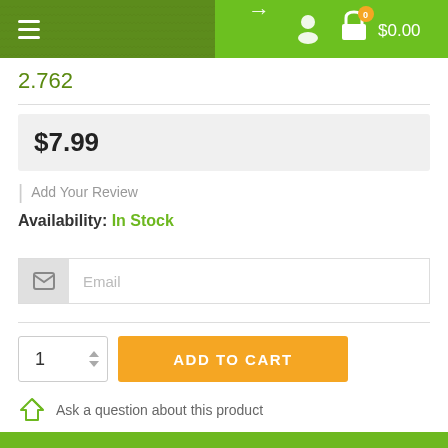[Figure (screenshot): E-commerce website navigation bar with hamburger menu on dark green background on left, and login/profile/cart icons with $0.00 on bright green background on right. Cart shows badge with 0.]
2.762
$7.99
| Add Your Review
Availability: In Stock
Email
1
ADD TO CART
Ask a question about this product
Full Description
Overview